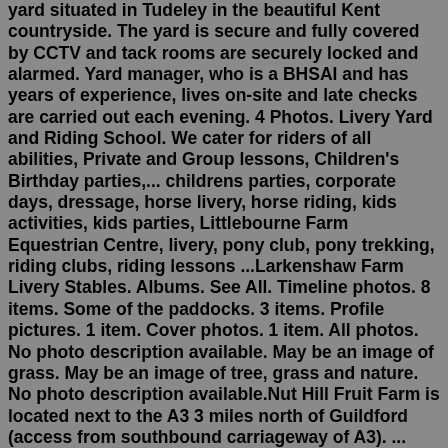yard situated in Tudeley in the beautiful Kent countryside. The yard is secure and fully covered by CCTV and tack rooms are securely locked and alarmed. Yard manager, who is a BHSAI and has years of experience, lives on-site and late checks are carried out each evening. 4 Photos. Livery Yard and Riding School. We cater for riders of all abilities, Private and Group lessons, Children's Birthday parties,... childrens parties, corporate days, dressage, horse livery, horse riding, kids activities, kids parties, Littlebourne Farm Equestrian Centre, livery, pony club, pony trekking, riding clubs, riding lessons ...Larkenshaw Farm Livery Stables. Albums. See All. Timeline photos. 8 items. Some of the paddocks. 3 items. Profile pictures. 1 item. Cover photos. 1 item. All photos. No photo description available. May be an image of grass. May be an image of tree, grass and nature. No photo description available.Nut Hill Fruit Farm is located next to the A3 3 miles north of Guildford (access from southbound carriageway of A3). ... Larkenshaw Farm & Livery Stables. Riding ...